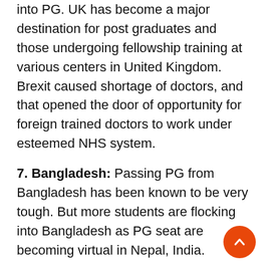into PG. UK has become a major destination for post graduates and those undergoing fellowship training at various centers in United Kingdom. Brexit caused shortage of doctors, and that opened the door of opportunity for foreign trained doctors to work under esteemed NHS system.
7. Bangladesh: Passing PG from Bangladesh has been known to be very tough. But more students are flocking into Bangladesh as PG seat are becoming virtual in Nepal, India.
8. Republic of the Philippines: Recent trend has been to form a group and fly to Philippines for PG. An easier destination but lower in choice. But recently Kathmandu University has denied to provide a faculty quota for specialists passing from Philippines.